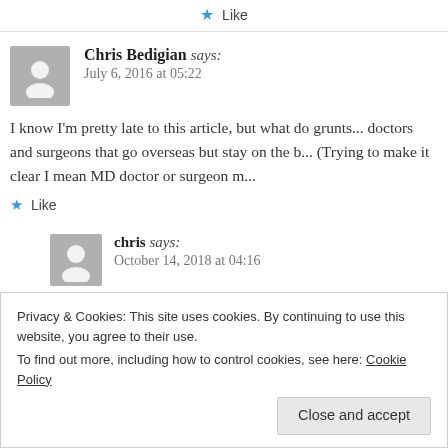★ Like
Chris Bedigian says:
July 6, 2016 at 05:22
I know I'm pretty late to this article, but what do grunts... doctors and surgeons that go overseas but stay on the b... (Trying to make it clear I mean MD doctor or surgeon m...
★ Like
chris says:
October 14, 2018 at 04:16
Privacy & Cookies: This site uses cookies. By continuing to use this website, you agree to their use.
To find out more, including how to control cookies, see here: Cookie Policy
Close and accept